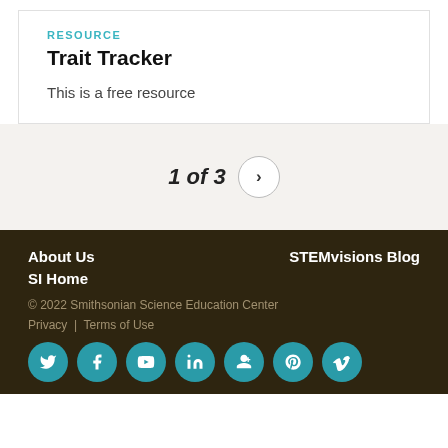RESOURCE
Trait Tracker
This is a free resource
1 of 3
About Us | STEMvisions Blog | SI Home | © 2022 Smithsonian Science Education Center | Privacy | Terms of Use